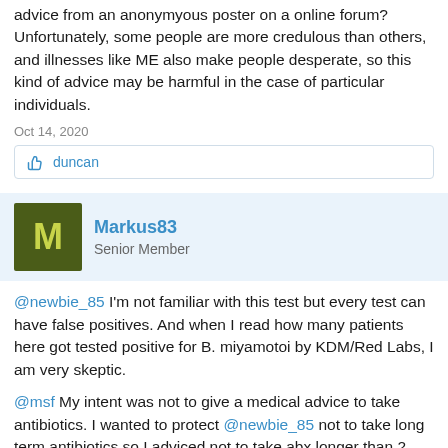advice from an anonymyous poster on a online forum? Unfortunately, some people are more credulous than others, and illnesses like ME also make people desperate, so this kind of advice may be harmful in the case of particular individuals.
Oct 14, 2020
👍 duncan
Markus83 Senior Member
@newbie_85 I'm not familiar with this test but every test can have false positives. And when I read how many patients here got tested positive for B. miyamotoi by KDM/Red Labs, I am very skeptic.
@msf My intent was not to give a medical advice to take antibiotics. I wanted to protect @newbie_85 not to take long term antibiotics so I adviced not to take abx longer than 2 weeks without improvement. Besides that, doxycycline is a